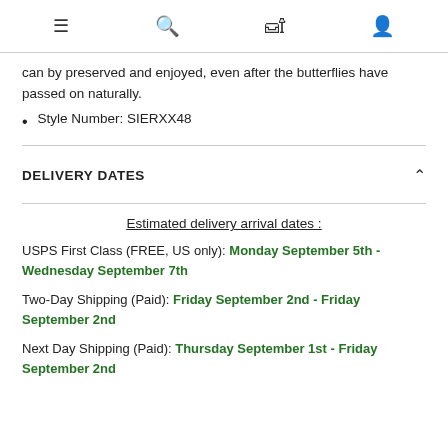≡  🔍  🛍  👤
can by preserved and enjoyed, even after the butterflies have passed on naturally.
Style Number: SIERXX48
DELIVERY DATES
Estimated delivery arrival dates :
USPS First Class (FREE, US only): Monday September 5th - Wednesday September 7th
Two-Day Shipping (Paid): Friday September 2nd - Friday September 2nd
Next Day Shipping (Paid): Thursday September 1st - Friday September 2nd